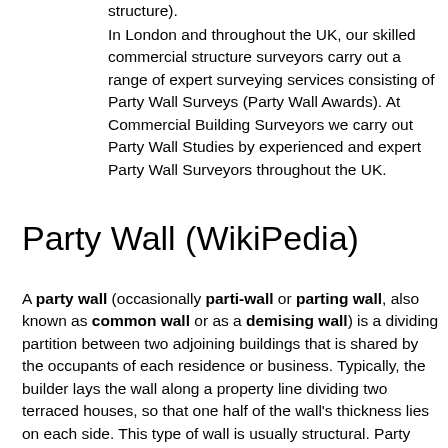structure).
In London and throughout the UK, our skilled commercial structure surveyors carry out a range of expert surveying services consisting of Party Wall Surveys (Party Wall Awards). At Commercial Building Surveyors we carry out Party Wall Studies by experienced and expert Party Wall Surveyors throughout the UK.
Party Wall (WikiPedia)
A party wall (occasionally parti-wall or parting wall, also known as common wall or as a demising wall) is a dividing partition between two adjoining buildings that is shared by the occupants of each residence or business. Typically, the builder lays the wall along a property line dividing two terraced houses, so that one half of the wall's thickness lies on each side. This type of wall is usually structural. Party walls can also be formed by two abutting walls built at different times. The term can be also used to